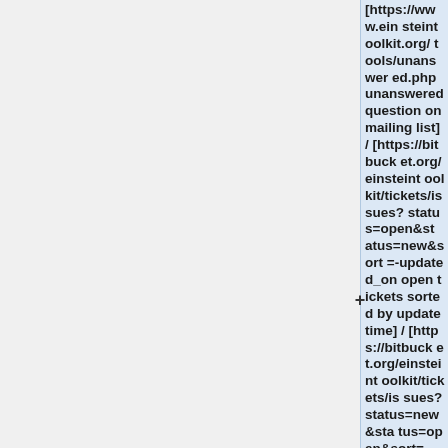[https://www.einsteintoolkit.org/tools/unanswered.php unanswered question on mailing list] / [https://bitbucket.org/einsteintoolkit/tickets/issues?status=open&status=new&sort=-updated_on open tickets sorted by update time] / [https://bitbucket.org/einsteintoolkit/tickets/issues?status=new&status=open&sort=